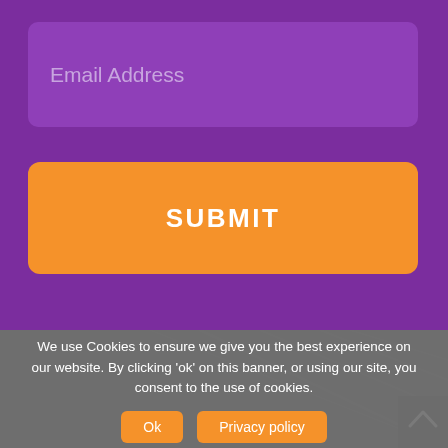Email Address
SUBMIT
[Figure (screenshot): Dark gray section with diagonal line texture and a back-to-top arrow button in the bottom right corner]
We use Cookies to ensure we give you the best experience on our website. By clicking 'ok' on this banner, or using our site, you consent to the use of cookies.
Ok
Privacy policy